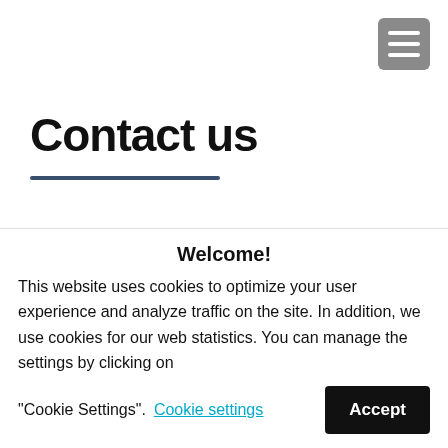Contact us
Would you like to learn more about OCR and about making ancient books or documents digitally accessible?
Welcome!

This website uses cookies to optimize your user experience and analyze traffic on the site. In addition, we use cookies for our web statistics. You can manage the settings by clicking on "Cookie Settings".